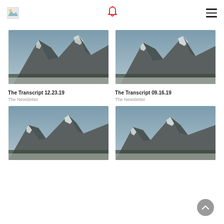App header with logo, bell notification icon, and hamburger menu
[Figure (photo): Snow-capped mountain landscape with grey sky, card thumbnail]
The Transcript 12.23.19
The Newsletter
[Figure (photo): Snow-capped mountain landscape with grey sky, card thumbnail]
The Transcript 09.16.19
The Newsletter
[Figure (photo): Snow-capped mountain landscape with grey sky, card thumbnail (bottom left, partially visible)]
[Figure (photo): Snow-capped mountain landscape with grey sky, card thumbnail (bottom right, partially visible)]